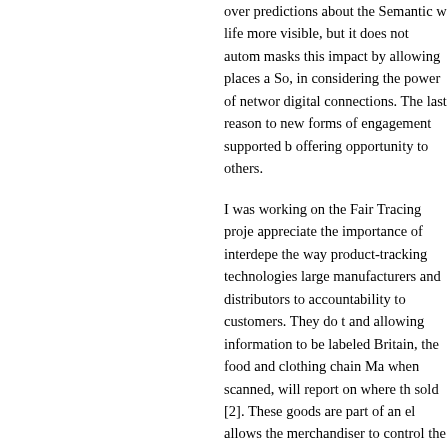over predictions about the Semantic w life more visible, but it does not autom masks this impact by allowing places a So, in considering the power of networ digital connections. The last reason to new forms of engagement supported b offering opportunity to others.
I was working on the Fair Tracing proje appreciate the importance of interdepe the way product-tracking technologies large manufacturers and distributors to accountability to customers. They do t and allowing information to be labeled Britain, the food and clothing chain Ma when scanned, will report on where th sold [2]. These goods are part of an el allows the merchandiser to control the them, optimizing placement, and redu
Fair Tracing received research-council initiative of the EPSRC (Engineering a the potential for offering small produce companies are realizing, with the adde provenance so that customers can jud research team design a system that ga output through the necessary stages o